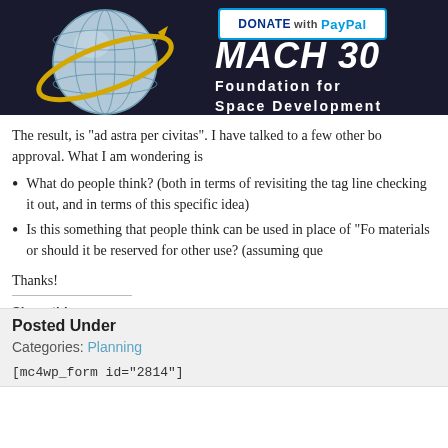[Figure (logo): Mach 30 Foundation for Space Development logo with globe and yellow arrow orbit, dark background, with DONATE with PayPal button]
The result, is "ad astra per civitas".  I have talked to a few other bo approval.  What I am wondering is
What do people think?  (both in terms of revisiting the tag line checking it out, and in terms of this specific idea)
Is this something that people think can be used in place of "Fo materials or should it be reserved for other use? (assuming que
Thanks!
Share this:
Twitter  Facebook  Reddit  More
Posted Under
Categories: Planning
[mc4wp_form id="2814"]